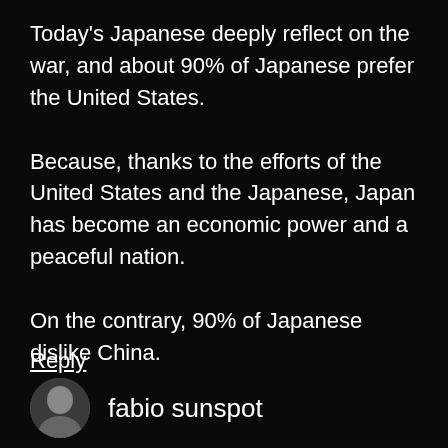Today's Japanese deeply reflect on the war, and about 90% of Japanese prefer the United States. Because, thanks to the efforts of the United States and the Japanese, Japan has become an economic power and a peaceful nation.

On the contrary, 90% of Japanese dislike China.
Reply
fabio sunspot